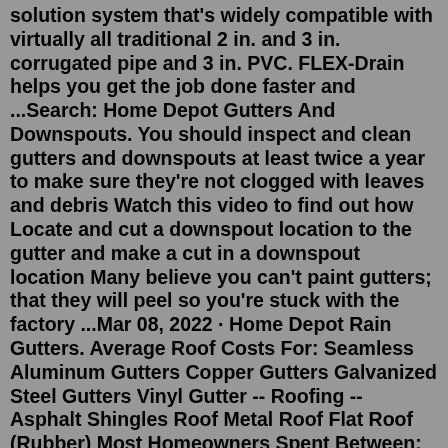solution system that's widely compatible with virtually all traditional 2 in. and 3 in. corrugated pipe and 3 in. PVC. FLEX-Drain helps you get the job done faster and ...Search: Home Depot Gutters And Downspouts. You should inspect and clean gutters and downspouts at least twice a year to make sure they're not clogged with leaves and debris Watch this video to find out how Locate and cut a downspout location to the gutter and make a cut in a downspout location Many believe you can't paint gutters; that they will peel so you're stuck with the factory ...Mar 08, 2022 · Home Depot Rain Gutters. Average Roof Costs For: Seamless Aluminum Gutters Copper Gutters Galvanized Steel Gutters Vinyl Gutter -- Roofing -- Asphalt Shingles Roof Metal Roof Flat Roof (Rubber) Most Homeowners Spent Between: Most People Spent: $920 - $1,295 (For 110 ln. ft. of Gutters) Low End. $890. Vinyl gutter systems are prominent in home stores because of the ease of assembly and availability of component parts. At around $3 to $5 per linear foot, vinyl is the most